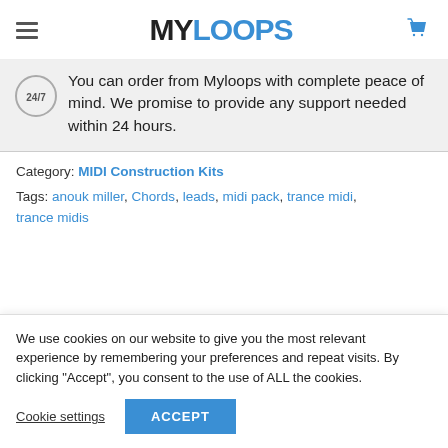MYLOOPS
You can order from Myloops with complete peace of mind. We promise to provide any support needed within 24 hours.
Category: MIDI Construction Kits
Tags: anouk miller, Chords, leads, midi pack, trance midi, trance midis
We use cookies on our website to give you the most relevant experience by remembering your preferences and repeat visits. By clicking "Accept", you consent to the use of ALL the cookies.